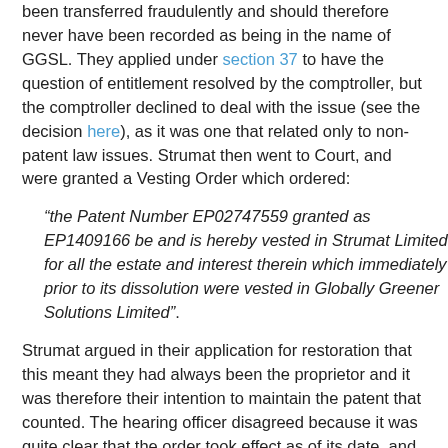been transferred fraudulently and should therefore never have been recorded as being in the name of GGSL. They applied under section 37 to have the question of entitlement resolved by the comptroller, but the comptroller declined to deal with the issue (see the decision here), as it was one that related only to non-patent law issues. Strumat then went to Court, and were granted a Vesting Order which ordered:
“the Patent Number EP02747559 granted as EP1409166 be and is hereby vested in Strumat Limited for all the estate and interest therein which immediately prior to its dissolution were vested in Globally Greener Solutions Limited”.
Strumat argued in their application for restoration that this meant they had always been the proprietor and it was therefore their intention to maintain the patent that counted. The hearing officer disagreed because it was quite clear that the order took effect as of its date, and was not retrospective. As a result, only the intention of the Crown could be relevant, and they had no intention to maintain the patent. The application for restoration therefore had to be refused (see decision BL O/248/15).